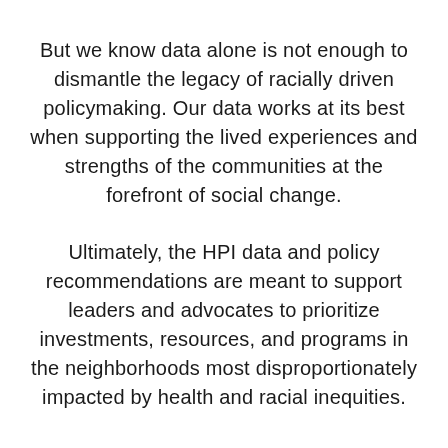But we know data alone is not enough to dismantle the legacy of racially driven policymaking. Our data works at its best when supporting the lived experiences and strengths of the communities at the forefront of social change.
Ultimately, the HPI data and policy recommendations are meant to support leaders and advocates to prioritize investments, resources, and programs in the neighborhoods most disproportionately impacted by health and racial inequities.